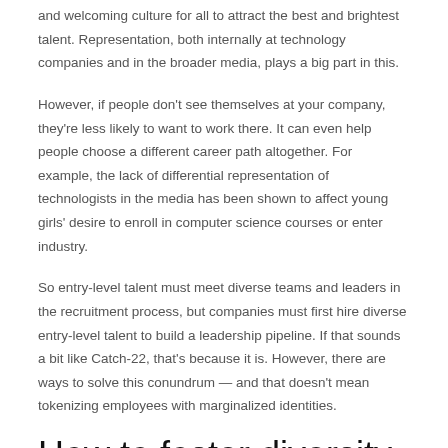and welcoming culture for all to attract the best and brightest talent. Representation, both internally at technology companies and in the broader media, plays a big part in this.
However, if people don't see themselves at your company, they're less likely to want to work there. It can even help people choose a different career path altogether. For example, the lack of differential representation of technologists in the media has been shown to affect young girls' desire to enroll in computer science courses or enter industry.
So entry-level talent must meet diverse teams and leaders in the recruitment process, but companies must first hire diverse entry-level talent to build a leadership pipeline. If that sounds a bit like Catch-22, that's because it is. However, there are ways to solve this conundrum — and that doesn't mean tokenizing employees with marginalized identities.
How to foster diversity from the ground up